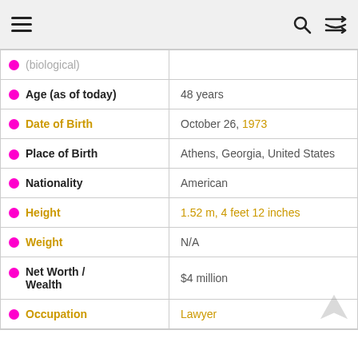☰ (menu) | 🔍 (search) | ⇄ (shuffle)
| Attribute | Value |
| --- | --- |
| (biological) |  |
| Age (as of today) | 48 years |
| Date of Birth | October 26, 1973 |
| Place of Birth | Athens, Georgia, United States |
| Nationality | American |
| Height | 1.52 m, 4 feet 12 inches |
| Weight | N/A |
| Net Worth / Wealth | $4 million |
| Occupation | Lawyer |